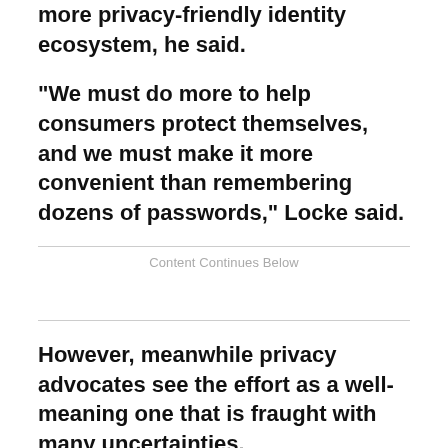more privacy-friendly identity ecosystem, he said.
"We must do more to help consumers protect themselves, and we must make it more convenient than remembering dozens of passwords," Locke said.
Content Continues Below
However, meanwhile privacy advocates see the effort as a well-meaning one that is fraught with many uncertainties.
For one thing, the kind of identity infrastructure